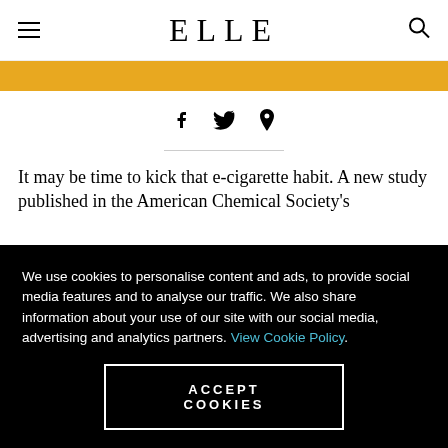ELLE
[Figure (illustration): Gold/yellow banner image strip]
[Figure (infographic): Social share icons: Facebook, Twitter, Pinterest]
It may be time to kick that e-cigarette habit. A new study published in the American Chemical Society's
We use cookies to personalise content and ads, to provide social media features and to analyse our traffic. We also share information about your use of our site with our social media, advertising and analytics partners. View Cookie Policy.
ACCEPT COOKIES